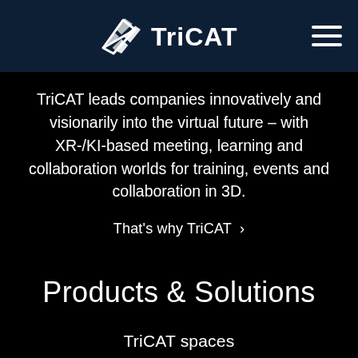TriCAT logo and navigation menu
TriCAT leads companies innovatively and visionarily into the virtual future – with XR-/KI-based meeting, learning and collaboration worlds for training, events and collaboration in 3D.
That's why TriCAT ›
Products & Solutions
TriCAT spaces